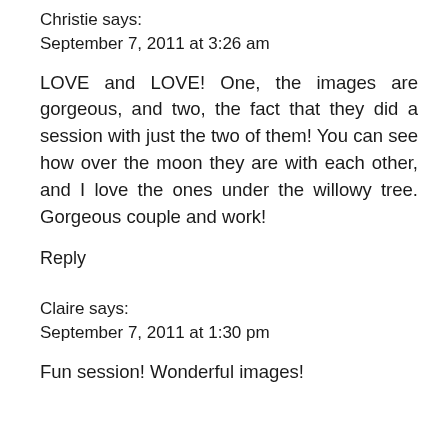Christie says:
September 7, 2011 at 3:26 am
LOVE and LOVE! One, the images are gorgeous, and two, the fact that they did a session with just the two of them! You can see how over the moon they are with each other, and I love the ones under the willowy tree. Gorgeous couple and work!
Reply
Claire says:
September 7, 2011 at 1:30 pm
Fun session! Wonderful images!